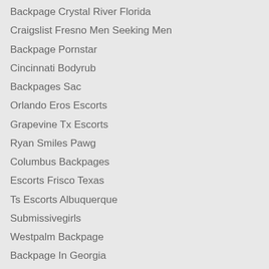Backpage Crystal River Florida
Craigslist Fresno Men Seeking Men
Backpage Pornstar
Cincinnati Bodyrub
Backpages Sac
Orlando Eros Escorts
Grapevine Tx Escorts
Ryan Smiles Pawg
Columbus Backpages
Escorts Frisco Texas
Ts Escorts Albuquerque
Submissivegirls
Westpalm Backpage
Backpage In Georgia
Shemale Escorts In Los Angeles
Usa Sex Guide Dayton
Turlock Backpage